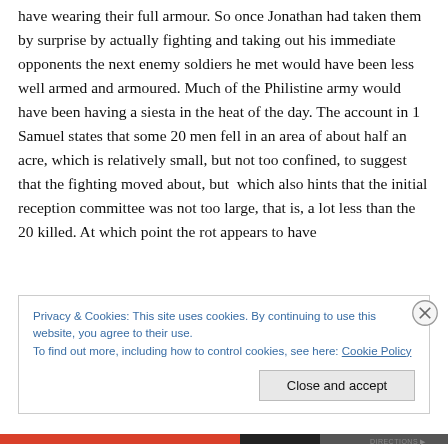have wearing their full armour. So once Jonathan had taken them by surprise by actually fighting and taking out his immediate opponents the next enemy soldiers he met would have been less well armed and armoured. Much of the Philistine army would have been having a siesta in the heat of the day. The account in 1 Samuel states that some 20 men fell in an area of about half an acre, which is relatively small, but not too confined, to suggest that the fighting moved about, but which also hints that the initial reception committee was not too large, that is, a lot less than the 20 killed. At which point the rot appears to have
Privacy & Cookies: This site uses cookies. By continuing to use this website, you agree to their use.
To find out more, including how to control cookies, see here: Cookie Policy